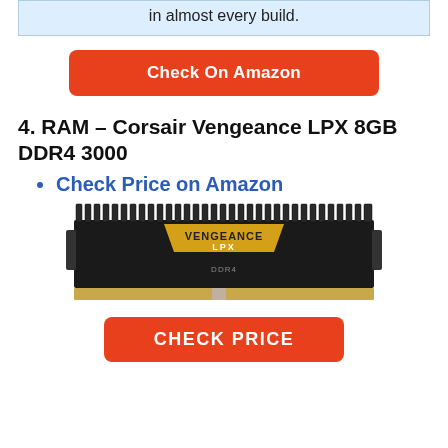in almost every build.
Check On Amazon
4. RAM – Corsair Vengeance LPX 8GB DDR4 3000
Check Price on Amazon
[Figure (photo): Corsair Vengeance LPX 8GB DDR4 RAM stick with black heatspreader and yellow VENGEANCE LPX logo]
CHECK PRICE